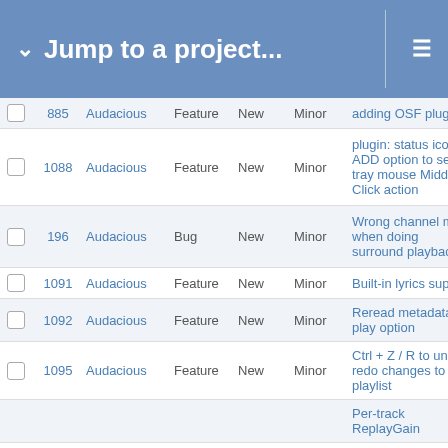Jump to a project...
|  | # | Project | Tracker | Status | Priority | Subject |
| --- | --- | --- | --- | --- | --- | --- |
|  | 885 | Audacious | Feature | New | Minor | adding OSF plugin |
|  | 1088 | Audacious | Feature | New | Minor | plugin: status icon: ADD option to select tray mouse Middle Click action |
|  | 196 | Audacious | Bug | New | Minor | Wrong channel map when doing surround playback |
|  | 1091 | Audacious | Feature | New | Minor | Built-in lyrics support |
|  | 1092 | Audacious | Feature | New | Minor | Reread metadata on play option |
|  | 1095 | Audacious | Feature | New | Minor | Ctrl + Z / R to undo / redo changes to playlist |
|  |  |  |  |  |  | Per-track ReplayGain |